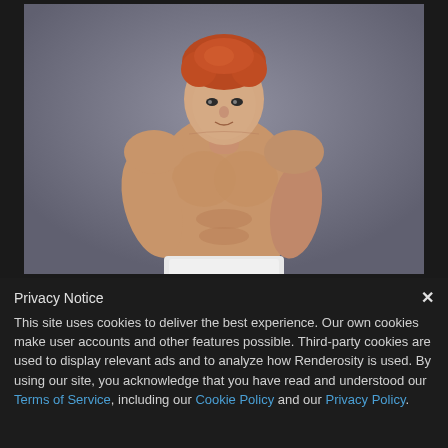[Figure (illustration): A 3D rendered male figure with red/auburn hair, muscular build, shirtless, with white towel around waist, posed against a gray gradient background.]
Privacy Notice
This site uses cookies to deliver the best experience. Our own cookies make user accounts and other features possible. Third-party cookies are used to display relevant ads and to analyze how Renderosity is used. By using our site, you acknowledge that you have read and understood our Terms of Service, including our Cookie Policy and our Privacy Policy.